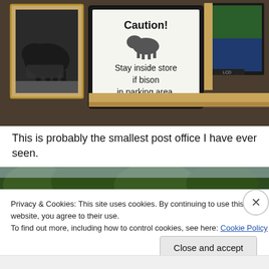[Figure (photo): Interior of a small store/post office. A framed caution sign reads 'Caution! Stay inside store if bison in parking area.' with a bison illustration. A framed photo of a bison is visible on the left, and a TV/monitor on the right. Wooden counter and walls.]
This is probably the smallest post office I have ever seen.
[Figure (photo): Outdoor scene with trees against sky, partially visible.]
Privacy & Cookies: This site uses cookies. By continuing to use this website, you agree to their use.
To find out more, including how to control cookies, see here: Cookie Policy
Close and accept